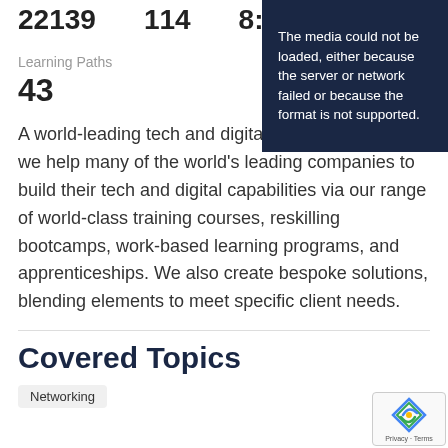22139    114    8:34
Learning Paths
43
[Figure (screenshot): Dark navy video player overlay with error message: 'The media could not be loaded, either because the server or network failed or because the format is not supported.']
A world-leading tech and digital skills organization, we help many of the world's leading companies to build their tech and digital capabilities via our range of world-class training courses, reskilling bootcamps, work-based learning programs, and apprenticeships. We also create bespoke solutions, blending elements to meet specific client needs.
Covered Topics
Networking